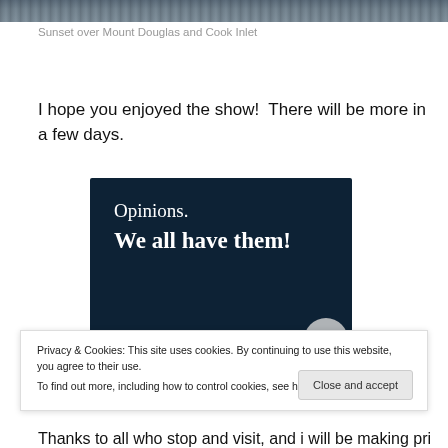[Figure (photo): Top strip of a photograph showing a sunset over Mount Douglas and Cook Inlet — dark water and sky tones]
Sunset over Mount Douglas and Cook Inlet
I hope you enjoyed the show!  There will be more in a few days.
[Figure (illustration): Dark navy banner graphic with white serif text reading 'Opinions. We all have them!' with a pink button bar at bottom and a grey circle button]
Privacy & Cookies: This site uses cookies. By continuing to use this website, you agree to their use.
To find out more, including how to control cookies, see here: Cookie Policy
Close and accept
Thanks to all who stop and visit, and i will be making prints